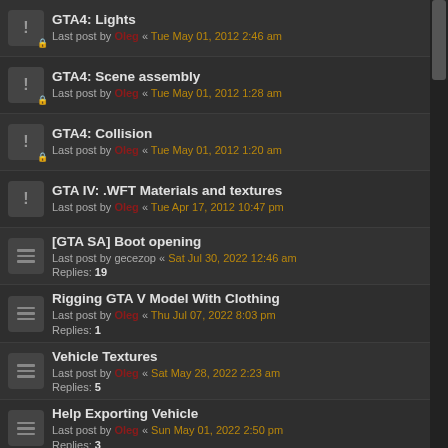GTA4: Lights
Last post by Oleg « Tue May 01, 2012 2:46 am
GTA4: Scene assembly
Last post by Oleg « Tue May 01, 2012 1:28 am
GTA4: Collision
Last post by Oleg « Tue May 01, 2012 1:20 am
GTA IV: .WFT Materials and textures
Last post by Oleg « Tue Apr 17, 2012 10:47 pm
[GTA SA] Boot opening
Last post by gecezop « Sat Jul 30, 2022 12:46 am
Replies: 19
Rigging GTA V Model With Clothing
Last post by Oleg « Thu Jul 07, 2022 8:03 pm
Replies: 1
Vehicle Textures
Last post by Oleg « Sat May 28, 2022 2:23 am
Replies: 5
Help Exporting Vehicle
Last post by Oleg « Sun May 01, 2022 2:50 pm
Replies: 3
Game crashed when damage is done to vehicle
Last post by khiemdeptrai « Thu Apr 28, 2022 5:25 pm
Replies: 2
GTA5 ELS Lights - Brightness
Last post by Georgeharris9 « Thu Apr 28, 2022 7:18 am